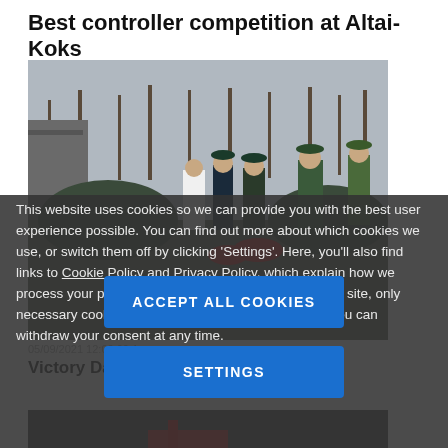Best controller competition at Altai-Koks
[Figure (photo): Outdoor military/ceremonial gathering with people in military uniforms saluting, bare trees in background, crowd visible]
This website uses cookies so we can provide you with the best user experience possible. You can find out more about which cookies we use, or switch them off by clicking ‘Settings’. Here, you’ll also find links to Cookie Policy and Privacy Policy, which explain how we process your personal data. Continuing working on our site, only necessary cookies will be installed. Please note that you can withdraw your consent at any time.
05/09/2021 12:00:00 Am
Victory Day celebrations at Altai-Koks
[Figure (photo): Partially visible photo below the cookie banner]
ACCEPT ALL COOKIES
SETTINGS